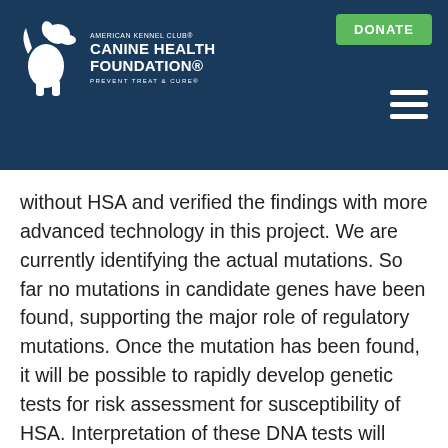American Kennel Club® Canine Health Foundation® — PREVENT TREAT & CURE®
without HSA and verified the findings with more advanced technology in this project. We are currently identifying the actual mutations. So far no mutations in candidate genes have been found, supporting the major role of regulatory mutations. Once the mutation has been found, it will be possible to rapidly develop genetic tests for risk assessment for susceptibility of HSA. Interpretation of these DNA tests will require the consideration of markers for all genes simultaneously as well as assessing risks for different types of cancer. The presence of multiple interacting genes, some at high frequency in the population, will make it difficult to reduce the disease frequency quickly, but should still allow for informed breeding. In addition, by examining the frequency of these mutations in other breeds we can determine which other breeds need to be screened for these